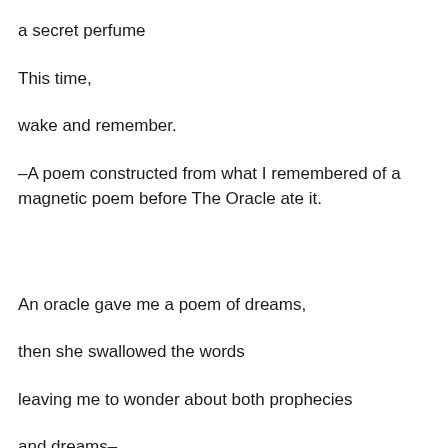a secret perfume
This time,
wake and remember.
–A poem constructed from what I remembered of a magnetic poem before The Oracle ate it.
An oracle gave me a poem of dreams,
then she swallowed the words
leaving me to wonder about both prophecies
and dreams–